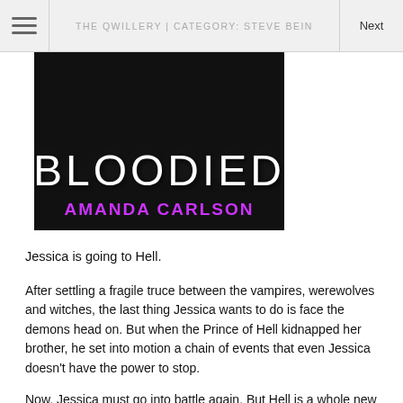THE QWILLERY | CATEGORY: STEVE BEIN
[Figure (photo): Book cover image showing 'BLOODIED' by AMANDA CARLSON, black background with white distressed title text and author name in magenta/purple]
Jessica is going to Hell.
After settling a fragile truce between the vampires, werewolves and witches, the last thing Jessica wants to do is face the demons head on. But when the Prince of Hell kidnapped her brother, he set into motion a chain of events that even Jessica doesn't have the power to stop.
Now, Jessica must go into battle again. But Hell is a whole new beast -- new rules, more dangerous demons, and an entirely foreign realm. And when Jessica is dropped into the Underworld too soon, without protection or the help of her friends, she must figure out just how powerful she can be... or she will never make it